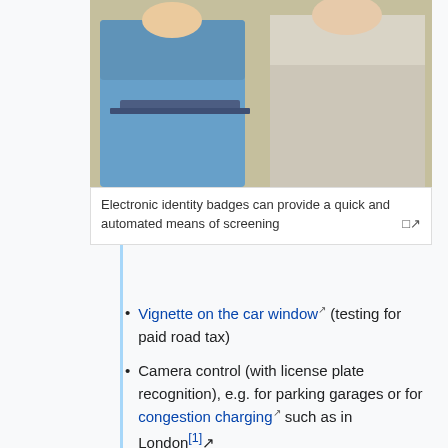[Figure (photo): Two people in an office setting, one wearing a blue shirt and the other in a light grey jacket, possibly in a security screening context.]
Electronic identity badges can provide a quick and automated means of screening
Vignette on the car window (testing for paid road tax)
Camera control (with license plate recognition), e.g. for parking garages or for congestion charging such as in London[1]
Effectiveness
Security issues where this measure can be effective and influenced by the urban planner, are:
| Financial gain | Bore... |
| --- | --- |